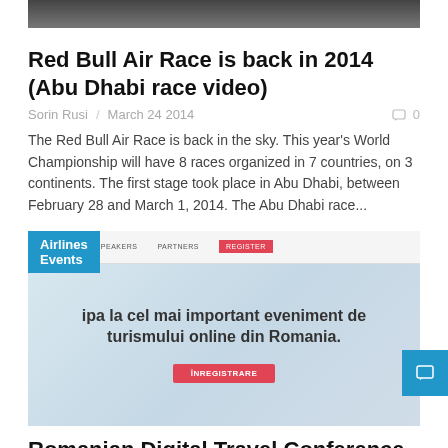[Figure (photo): Cropped top portion of an image, showing dark gradient sky/aircraft scene]
Red Bull Air Race is back in 2014 (Abu Dhabi race video)
Sorin Rusi / March 24 2014   0
The Red Bull Air Race is back in the sky. This year's World Championship will have 8 races organized in 7 countries, on 3 continents. The first stage took place in Abu Dhabi, between February 28 and March 1, 2014. The Abu Dhabi race...
[Figure (screenshot): Screenshot of a Romanian Digital Travel Conference website with navigation items (PROGRAM, SPEAKERS, PARTNERS), text 'ipa la cel mai important eveniment de turismului online din Romania.' and an ÎNREGISTRARE button. Blue 'Airlines Events' tag overlaid top-left.]
Romanian Digital Travel Conference - the most important event dedicated to online tourism in...
Sorin Rusi / Jan 28 2014